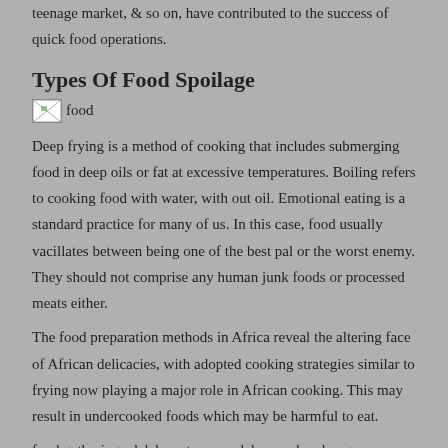teenage market, & so on, have contributed to the success of quick food operations.
Types Of Food Spoilage
[Figure (photo): A broken/missing image placeholder labeled 'food']
Deep frying is a method of cooking that includes submerging food in deep oils or fat at excessive temperatures. Boiling refers to cooking food with water, with out oil. Emotional eating is a standard practice for many of us. In this case, food usually vacillates between being one of the best pal or the worst enemy. They should not comprise any human junk foods or processed meats either.
The food preparation methods in Africa reveal the altering face of African delicacies, with adopted cooking strategies similar to frying now playing a major role in African cooking. This may result in undercooked foods which may be harmful to eat.
food gathering adalah suatu masa dalam perkembangan